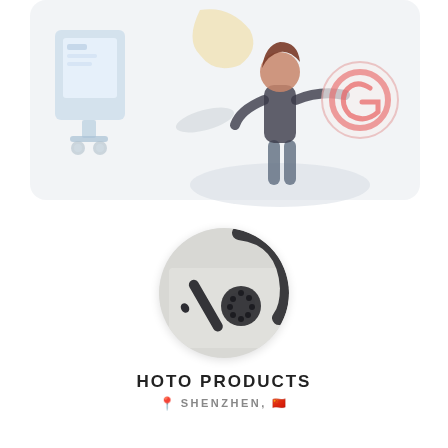[Figure (illustration): Light flat-style illustration showing a person interacting with a digital interface/tablet, with a monitor/display unit on the left. Soft pastel colors on a light grey-white background.]
[Figure (photo): Circular cropped product photo showing dark/black tool accessories including what appears to be a stylus or pen and a circular attachment on a light grey surface.]
HOTO PRODUCTS
📍 SHENZHEN, 🇨🇳